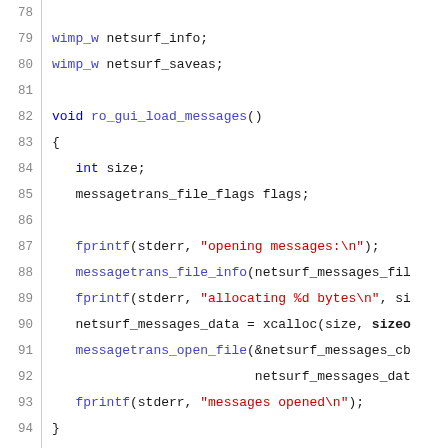[Figure (screenshot): Source code listing in C showing lines 78-107, with syntax highlighting: keywords in blue, strings in red, function names in blue/purple, numbers in red. Lines shown include declarations of wimp_w variables, ro_gui_load_messages function, and ro_gui_load_template function with local variables and function calls.]